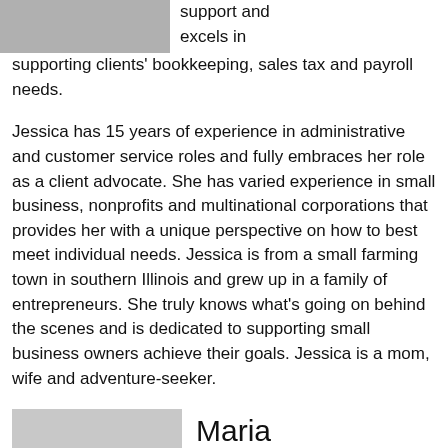[Figure (photo): Partial photo visible at top of page, gray/muted tones, cropped]
support and excels in supporting clients' bookkeeping, sales tax and payroll needs.
Jessica has 15 years of experience in administrative and customer service roles and fully embraces her role as a client advocate. She has varied experience in small business, nonprofits and multinational corporations that provides her with a unique perspective on how to best meet individual needs. Jessica is from a small farming town in southern Illinois and grew up in a family of entrepreneurs. She truly knows what's going on behind the scenes and is dedicated to supporting small business owners achieve their goals. Jessica is a mom, wife and adventure-seeker.
[Figure (photo): Photo of Maria, dark hair, partial view at bottom of page]
Maria K...